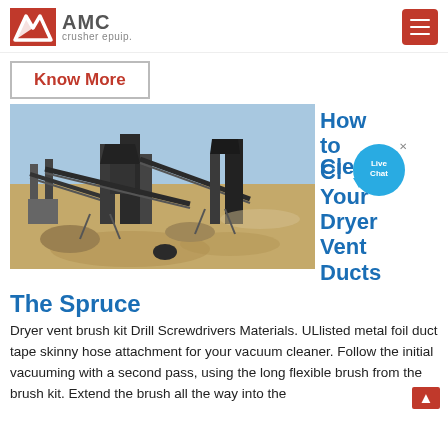[Figure (logo): AMC crusher epuip. logo with red chevron icon and hamburger menu button on right]
Know More
[Figure (photo): Industrial crusher/quarry equipment site with conveyor belts and machinery under blue sky]
[Figure (infographic): Side text overlay reading 'How to Clean Your Dryer Vent Ducts' in bold blue text with Live Chat bubble]
The Spruce
Dryer vent brush kit Drill Screwdrivers Materials. ULlisted metal foil duct tape skinny hose attachment for your vacuum cleaner. Follow the initial vacuuming with a second pass, using the long flexible brush from the brush kit. Extend the brush all the way into the